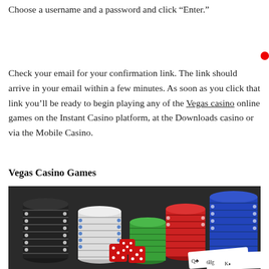Choose a username and a password and click “Enter.”
Check your email for your confirmation link. The link should arrive in your email within a few minutes. As soon as you click that link you’ll be ready to begin playing any of the Vegas casino online games on the Instant Casino platform, at the Downloads casino or via the Mobile Casino.
Vegas Casino Games
[Figure (photo): Stacks of casino chips in black, white, green, red, and blue colors arranged on a dark surface with red transparent dice and playing cards visible in the foreground.]